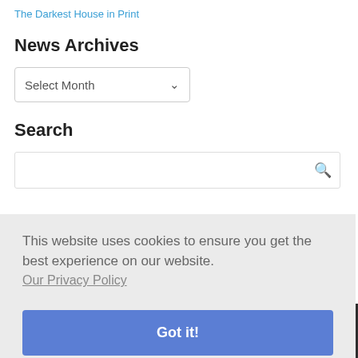The Darkest House in Print
News Archives
Select Month (dropdown)
Search
Search bar with search icon
This website uses cookies to ensure you get the best experience on our website.
Our Privacy Policy
Got it!
MCG Account